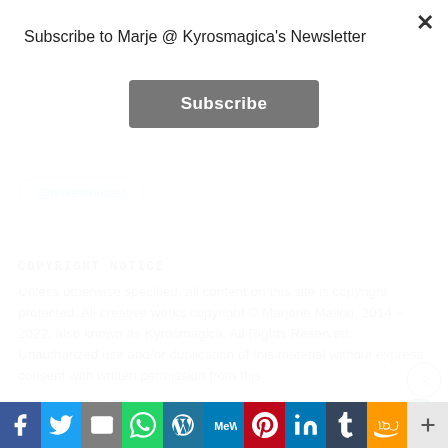Subscribe to Marje @ Kyrosmagica's Newsletter
Subscribe
@nokercubster
COPYRIGHT NOTICE
Unless otherwise specified, all content on this site is copyright protected. All creative works copyright © Marjorie Mallon, 2014 – 2022, also known as Kyrosmagica. All Rights Reserved. Unauthorized use and/or duplication of this material without express consent with written permission from this
Advertisements
Build a writing habit.